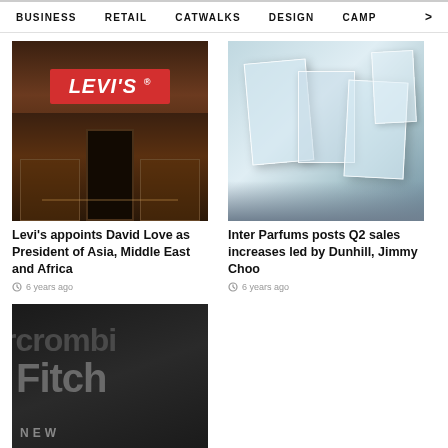BUSINESS   RETAIL   CATWALKS   DESIGN   CAMP >
[Figure (photo): Levi's store front with red Levi's sign above entrance, brick building, warm interior lighting]
Levi's appoints David Love as President of Asia, Middle East and Africa
6 years ago
[Figure (photo): Multiple crystal clear glass perfume bottles arranged on dark textured surface]
Inter Parfums posts Q2 sales increases led by Dunhill, Jimmy Choo
6 years ago
[Figure (photo): Abercrombie & Fitch store sign in dark tones showing partial text 'rcrombi Fitch NEW']